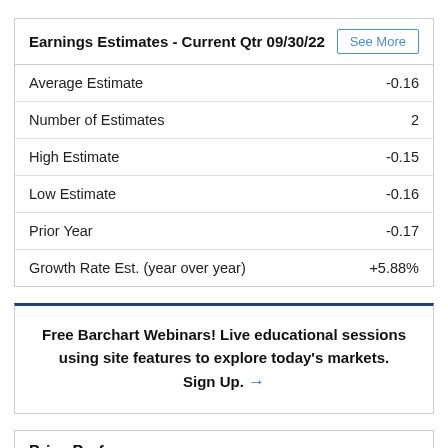|  |  |
| --- | --- |
| Average Estimate | -0.16 |
| Number of Estimates | 2 |
| High Estimate | -0.15 |
| Low Estimate | -0.16 |
| Prior Year | -0.17 |
| Growth Rate Est. (year over year) | +5.88% |
Free Barchart Webinars! Live educational sessions using site features to explore today's markets. Sign Up. →
Price Performance